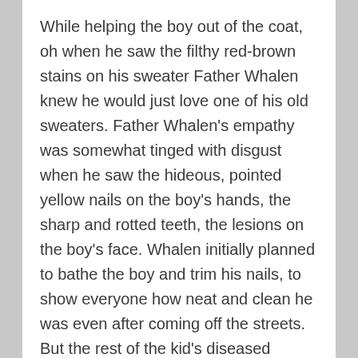While helping the boy out of the coat, oh when he saw the filthy red-brown stains on his sweater Father Whalen knew he would just love one of his old sweaters. Father Whalen's empathy was somewhat tinged with disgust when he saw the hideous, pointed yellow nails on the boy's hands, the sharp and rotted teeth, the lesions on the boy's face. Whalen initially planned to bathe the boy and trim his nails, to show everyone how neat and clean he was even after coming off the streets. But the rest of the kid's diseased visage was a bit much.
Offering the boy a candy cane, Whalen said hopefully Santa Claus would leave the child something at the church tomorrow night. The boy